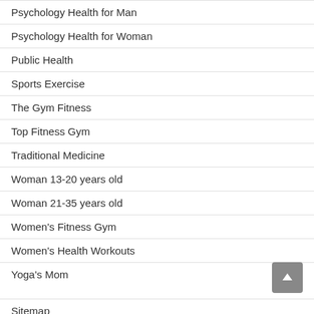Psychology Health for Man
Psychology Health for Woman
Public Health
Sports Exercise
The Gym Fitness
Top Fitness Gym
Traditional Medicine
Woman 13-20 years old
Woman 21-35 years old
Women's Fitness Gym
Women's Health Workouts
Yoga's Mom
Sitemap
Disclosure Policy